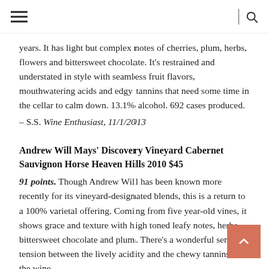years. It has light but complex notes of cherries, plum, herbs, flowers and bittersweet chocolate. It's restrained and understated in style with seamless fruit flavors, mouthwatering acids and edgy tannins that need some time in the cellar to calm down. 13.1% alcohol. 692 cases produced.
– S.S. Wine Enthusiast, 11/1/2013
Andrew Will Mays' Discovery Vineyard Cabernet Sauvignon Horse Heaven Hills 2010 $45
91 points. Though Andrew Will has been known more recently for its vineyard-designated blends, this is a return to a 100% varietal offering. Coming from five year-old vines, it shows grace and texture with high toned leafy notes, herbs, bittersweet chocolate and plum. There's a wonderful sense of tension between the lively acidity and the chewy tannins as the wine